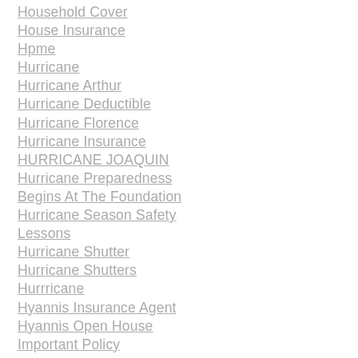Household Cover
House Insurance
Hpme
Hurricane
Hurricane Arthur
Hurricane Deductible
Hurricane Florence
Hurricane Insurance
HURRICANE JOAQUIN
Hurricane Preparedness Begins At The Foundation
Hurricane Season Safety Lessons
Hurricane Shutter
Hurricane Shutters
Hurrricane
Hyannis Insurance Agent
Hyannis Open House
Important Policy